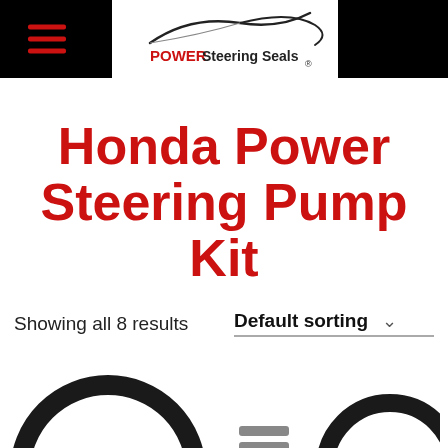POWER Steering Seals
Honda Power Steering Pump Kit
Showing all 8 results
Default sorting
[Figure (photo): Two power steering pump seal/o-ring kit product images partially visible at the bottom of the page]